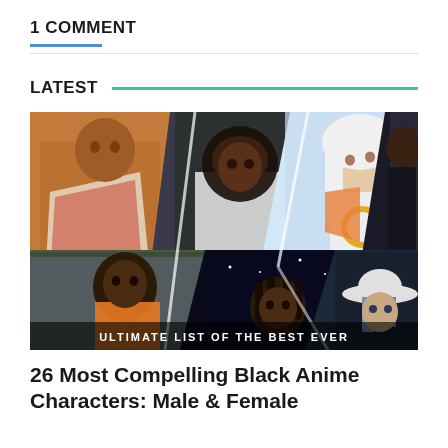1 COMMENT
LATEST
[Figure (illustration): Collage of 7 Black anime characters (male and female) from various anime series, arranged in overlapping diagonal panels. Bottom of image has text overlay reading 'ULTIMATE LIST OF THE BEST EVER']
26 Most Compelling Black Anime Characters: Male & Female